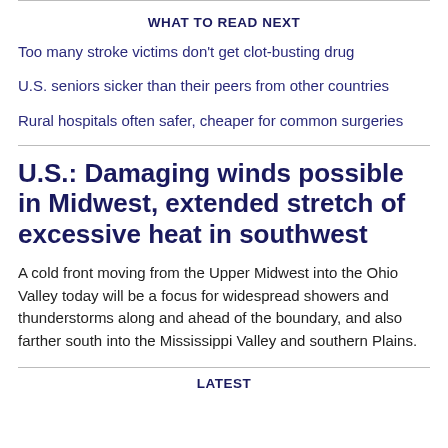WHAT TO READ NEXT
Too many stroke victims don't get clot-busting drug
U.S. seniors sicker than their peers from other countries
Rural hospitals often safer, cheaper for common surgeries
U.S.: Damaging winds possible in Midwest, extended stretch of excessive heat in southwest
A cold front moving from the Upper Midwest into the Ohio Valley today will be a focus for widespread showers and thunderstorms along and ahead of the boundary, and also farther south into the Mississippi Valley and southern Plains.
LATEST